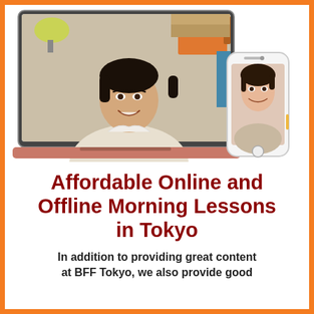[Figure (photo): A smiling man on a laptop screen doing a video call, with a woman on a smartphone screen beside the laptop. Suggests online language lessons.]
Affordable Online and Offline Morning Lessons in Tokyo
In addition to providing great content at BFF Tokyo, we also provide good